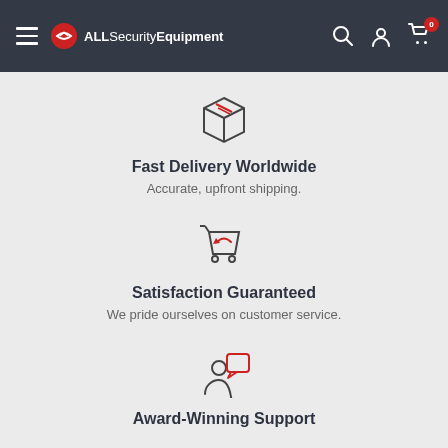ALLSecurityEquipment — navigation bar with hamburger menu, logo, search, account, and cart icons
[Figure (illustration): Package/box icon — line-art style box with two diagonal lines on top]
Fast Delivery Worldwide
Accurate, upfront shipping.
[Figure (illustration): Shopping cart with a return arrow icon in red line-art style]
Satisfaction Guaranteed
We pride ourselves on customer service.
[Figure (illustration): Person with speech bubble icon — person silhouette with a red speech bubble]
Award-Winning Support